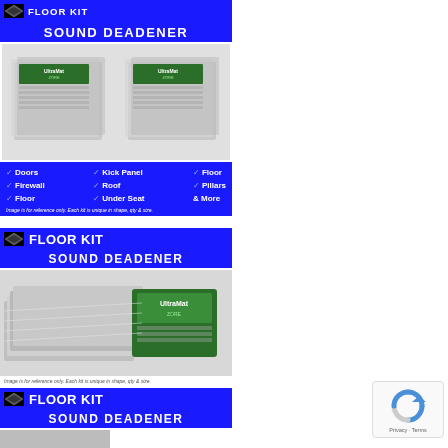[Figure (other): Blue banner with diamond logo and 'SOUND DEADENER' text]
[Figure (photo): Two stacks of silver foil sound deadener product packages]
[Figure (other): Blue feature box listing: Doors, Firewall, Floor, Kick Panel, Roof, Under Seat, Floor, Pillars & More]
[Figure (other): Floor Kit Sound Deadener blue banner with diamond logo]
[Figure (photo): Sound deadener floor kit foil sheets and package]
Image is for reference only. Each kit is unique in shape, qty & size.
[Figure (other): Floor Kit Sound Deadener blue banner with diamond logo (second instance)]
[Figure (photo): Partial view of floor kit product at bottom]
[Figure (logo): reCAPTCHA badge with Privacy and Terms links]